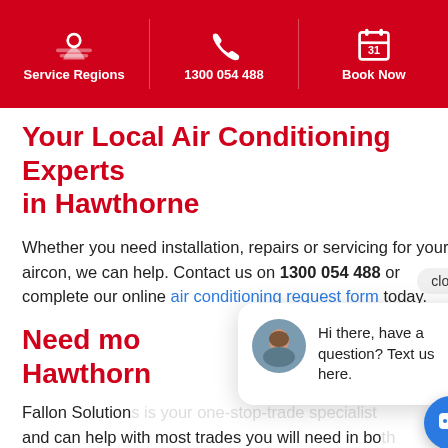Service Regions | 1300 054 488 | Book Now
Your Local Air Conditioning Experts in Hawthorne
Whether you need installation, repairs or servicing for your aircon, we can help. Contact us on 1300 054 488 or complete our online air conditioning request form today.
Need mo... Hawthorn...
Fallon Solutions... and can help with most trades you will need in both your home or business. Why waste time dealing with multiple companies when you can just deal with one?
[Figure (screenshot): Chat widget popup with avatar photo of a woman and text: Hi there, have a question? Text us here.]